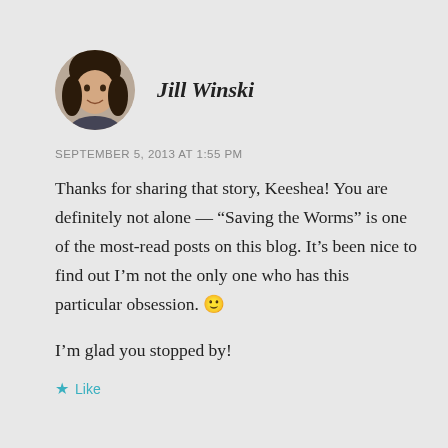[Figure (photo): Circular avatar photo of Jill Winski, a woman with dark hair, smiling]
Jill Winski
SEPTEMBER 5, 2013 AT 1:55 PM
Thanks for sharing that story, Keeshea! You are definitely not alone — “Saving the Worms” is one of the most-read posts on this blog. It’s been nice to find out I’m not the only one who has this particular obsession. 🙂
I’m glad you stopped by!
★ Like